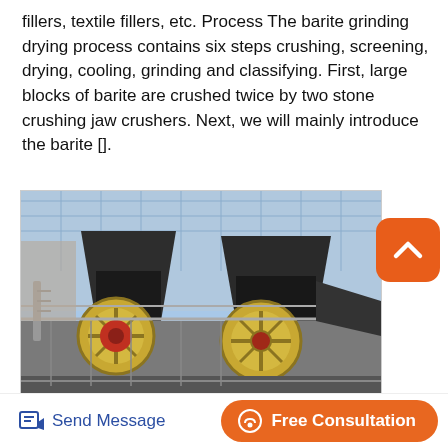fillers, textile fillers, etc. Process The barite grinding drying process contains six steps crushing, screening, drying, cooling, grinding and classifying. First, large blocks of barite are crushed twice by two stone crushing jaw crushers. Next, we will mainly introduce the barite [].
[Figure (photo): Photograph of two stone crushing jaw crushers installed on an elevated platform at an industrial facility, with large dark-colored crusher bodies and golden/yellow flywheels visible, against a background of a metal-framed building structure and blue sky.]
Send Message
Free Consultation